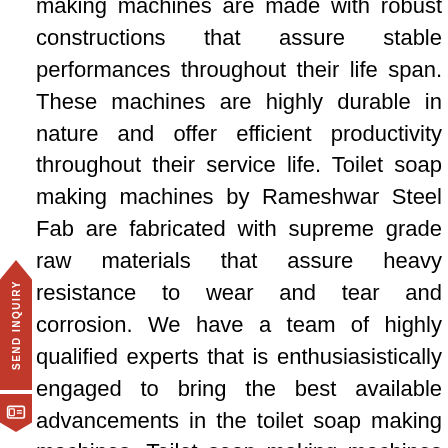making machines are made with robust constructions that assure stable performances throughout their life span. These machines are highly durable in nature and offer efficient productivity throughout their service life. Toilet soap making machines by Rameshwar Steel Fab are fabricated with supreme grade raw materials that assure heavy resistance to wear and tear and corrosion. We have a team of highly qualified experts that is enthusiasistically engaged to bring the best available advancements in the toilet soap making machines. Toilet soap making machines offer easy installation, operation and maintenance features. Our experts have suitably designed toilet soap making machines to better suit the industrial framework they are installed. Our toilet soap making machines has